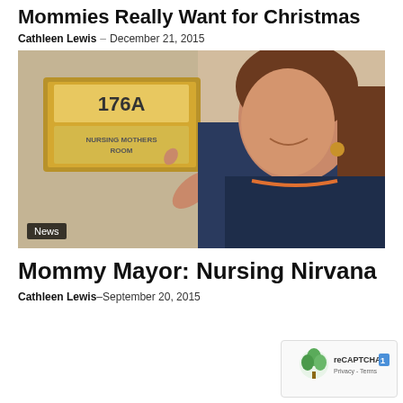Mommies Really Want for Christmas
Cathleen Lewis – December 21, 2015
[Figure (photo): Woman in dark jacket smiling and pointing to a wall sign reading '176A NURSING MOTHERS ROOM'. A 'News' badge is in the lower left corner of the image.]
Mommy Mayor: Nursing Nirvana
Cathleen Lewis – September 20, 2015
[Figure (logo): reCAPTCHA badge with a tree/leaf logo and 'Privacy - Terms' text in the bottom right corner of the page.]